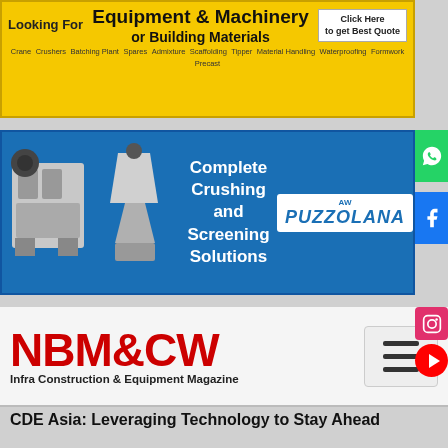[Figure (infographic): Yellow banner advertisement: 'Looking For Equipment & Machinery or Building Materials - Click Here to get Best Quote' with keywords: Crane, Crushers, Batching Plant, Tipper, Material Handling, Scaffolding, Precast, Waterproofing, Formwork, Admixture, Spares]
[Figure (infographic): Blue banner advertisement for Puzzolana: 'Complete Crushing and Screening Solutions' with logo on right side and crusher machinery images on left]
[Figure (logo): NBM&CW - Infra Construction & Equipment Magazine logo in red bold text with hamburger menu icon]
CDE Asia: Leveraging Technology to Stay Ahead
[Figure (illustration): Illustration showing a person holding a shield and sword fighting against coronavirus/COVID-19 virus particles on a light blue background]